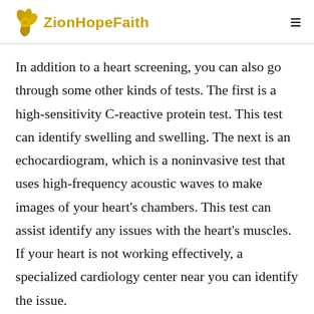ZionHopeFaith
In addition to a heart screening, you can also go through some other kinds of tests. The first is a high-sensitivity C-reactive protein test. This test can identify swelling and swelling. The next is an echocardiogram, which is a noninvasive test that uses high-frequency acoustic waves to make images of your heart's chambers. This test can assist identify any issues with the heart's muscles. If your heart is not working effectively, a specialized cardiology center near you can identify the issue.